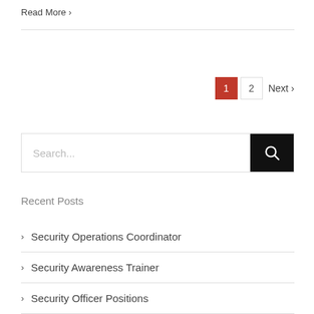Read More >
1  2  Next >
[Figure (other): Search bar with text input and black search button with magnifying glass icon]
Recent Posts
> Security Operations Coordinator
> Security Awareness Trainer
> Security Officer Positions